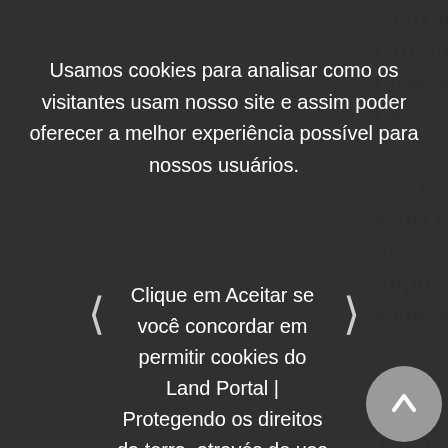environment, climate, foreign ... ties. Environmental aspects are ... important elements of sustainable peace: The UN and LO have initiated discussions on climate change on the security and stability of states, and environmental security has become a central issue in foreign ... lanning. ... by the generous support of the German Federal Foreign Office for this platform. This website approaches the ECC topics from two main
Usamos cookies para analisar como os visitantes usam nosso site e assim poder oferecer a melhor experiência possível para nossos usuários.
Clique em Aceitar se você concordar em permitir cookies do Land Portal | Protegendo os direitos da terra, através do uso de dados abertos. Caso contrário, clique em Recusar.
[Figure (other): Three grey circular navigation dots]
Aceitar
Rejeitar
generous support of the German Federal Foreign Office for this platform.
This website approaches the ECC topics from two main